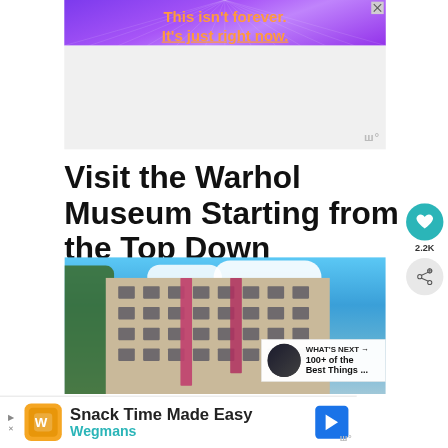[Figure (screenshot): Purple advertisement banner with ray burst pattern. Orange text reads: This isn't forever. It's just right now. Close button in top right corner.]
[Figure (screenshot): White/light gray empty advertisement placeholder area with Wordmark watermark icon at bottom right]
Visit the Warhol Museum Starting from the Top Down
[Figure (photo): Exterior photograph of the Andy Warhol Museum building in Pittsburgh — a multi-story beige/gray building with pink/magenta banners, blue sky with clouds, and trees in foreground. A 'What's Next' overlay appears with thumbnail image and text '100+ of the Best Things ...']
[Figure (screenshot): Bottom advertisement banner: Wegmans 'Snack Time Made Easy' ad with orange logo icon, blue Wegmans text, and blue navigation arrow icon]